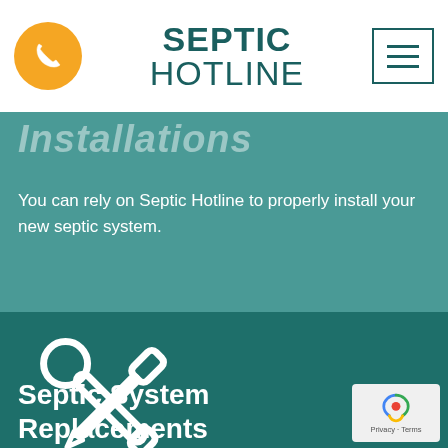SEPTIC HOTLINE
Installations
You can rely on Septic Hotline to properly install your new septic system.
[Figure (illustration): Crossed screwdriver and wrench icon in white outline style on dark teal background]
Septic System Replacements